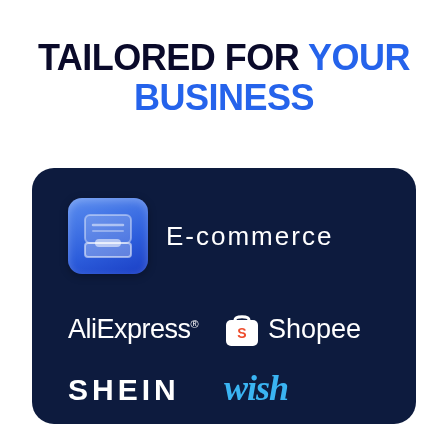TAILORED FOR YOUR BUSINESS
[Figure (infographic): Dark navy card showing e-commerce category with AliExpress, Shopee, SHEIN, and Wish brand logos on a dark background. Includes a blue inbox/tray icon and 'E-commerce' label.]